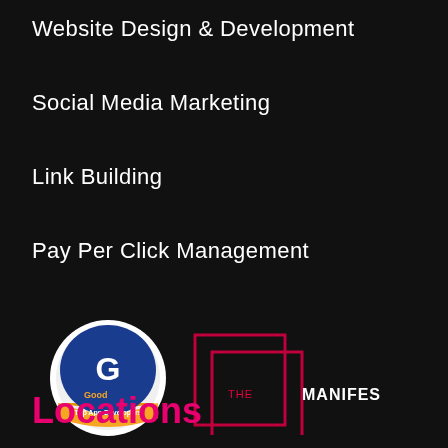Website Design & Development
Social Media Marketing
Link Building
Pay Per Click Management
[Figure (logo): GoodFirms Top App Developers badge with circular logo and star rating below]
[Figure (logo): The Manifest logo with nested square frames and text THE MANIFEST]
Locations